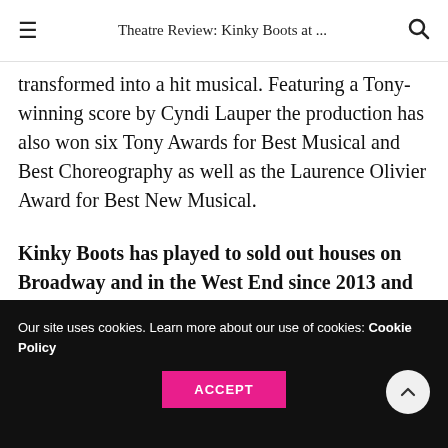Theatre Review: Kinky Boots at ...
transformed into a hit musical. Featuring a Tony-winning score by Cyndi Lauper the production has also won six Tony Awards for Best Musical and Best Choreography as well as the Laurence Olivier Award for Best New Musical.
Kinky Boots has played to sold out houses on Broadway and in the West End since 2013 and is a must see for all musical theatre fans.
Our site uses cookies. Learn more about our use of cookies: Cookie Policy
ACCEPT